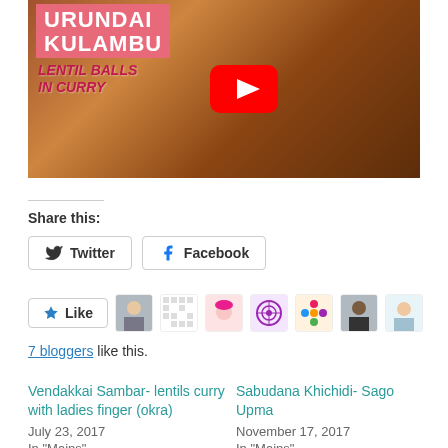[Figure (screenshot): YouTube video thumbnail for Urundai Kulambu (Lentil Balls in Curry) showing a food photo with a pink/red overlay text box and YouTube play button]
Share this:
Twitter  Facebook
Like  [7 blogger avatars]
7 bloggers like this.
Vendakkai Sambar- lentils curry with ladies finger (okra)
July 23, 2017
In "Mains"
Sabudana Khichidi- Sago Upma
November 17, 2017
In "Mains"